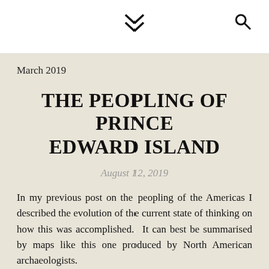❮❮ [chevron/menu icon] [search icon]
March 2019
THE PEOPLING OF PRINCE EDWARD ISLAND
August 12, 2019
In my previous post on the peopling of the Americas I described the evolution of the current state of thinking on how this was accomplished. It can best be summarised by maps like this one produced by North American archaeologists.